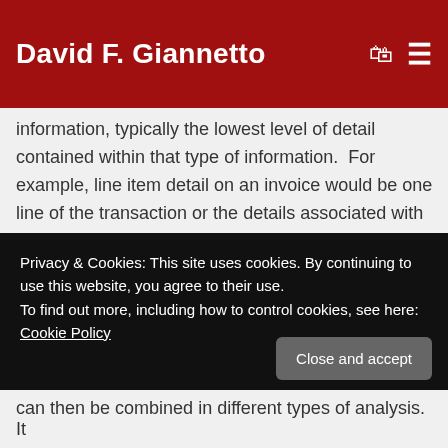David F. Giannetto
information, typically the lowest level of detail contained within that type of information.  For example, line item detail on an invoice would be one line of the transaction or the details associated with one item in the market basket.  A financial line item is the lowest level that revenue and expense items are budgeted at and recorded at.  This will vary from one organization to another, some will maintain line item accounts in a group (miscellaneous travel expenses for example) while others will have a separate line item for each common type of travel expense (in this
Privacy & Cookies: This site uses cookies. By continuing to use this website, you agree to their use.
To find out more, including how to control cookies, see here: Cookie Policy
can then be combined in different types of analysis. It